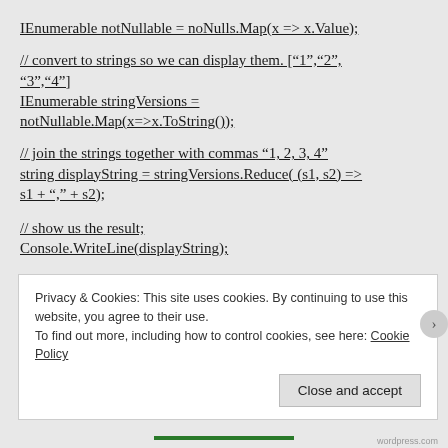IEnumerable notNullable = noNulls.Map(x => x.Value);
// convert to strings so we can display them. ["1","2","3","4"]
IEnumerable stringVersions = notNullable.Map(x=>x.ToString());
// join the strings together with commas "1, 2, 3, 4"
string displayString = stringVersions.Reduce( (s1, s2) => s1 + "," + s2);
// show us the result;
Console.WriteLine(displayString);
Privacy & Cookies: This site uses cookies. By continuing to use this website, you agree to their use.
To find out more, including how to control cookies, see here: Cookie Policy
Close and accept